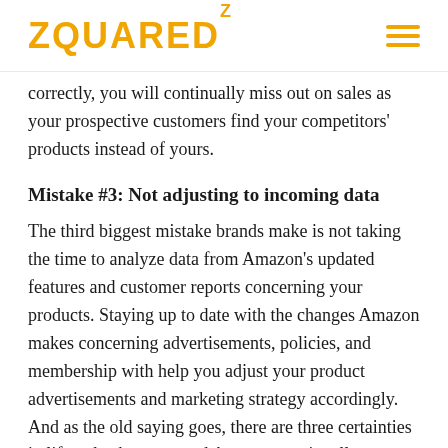ZQUARED²
correctly, you will continually miss out on sales as your prospective customers find your competitors' products instead of yours.
Mistake #3: Not adjusting to incoming data
The third biggest mistake brands make is not taking the time to analyze data from Amazon's updated features and customer reports concerning your products. Staying up to date with the changes Amazon makes concerning advertisements, policies, and membership with help you adjust your product advertisements and marketing strategy accordingly. And as the old saying goes, there are three certainties in life – death, taxes, and Amazon continually changing or adding to their policies.